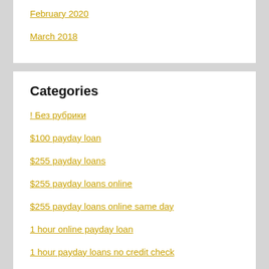February 2020
March 2018
Categories
! Без рубрики
$100 payday loan
$255 payday loans
$255 payday loans online
$255 payday loans online same day
1 hour online payday loan
1 hour payday loans no credit check